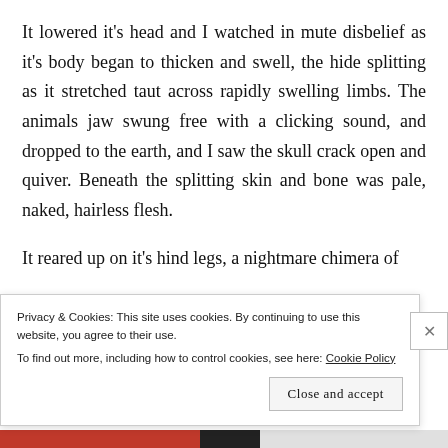It lowered it's head and I watched in mute disbelief as it's body began to thicken and swell, the hide splitting as it stretched taut across rapidly swelling limbs. The animals jaw swung free with a clicking sound, and dropped to the earth, and I saw the skull crack open and quiver. Beneath the splitting skin and bone was pale, naked, hairless flesh.
It reared up on it's hind legs, a nightmare chimera of
Privacy & Cookies: This site uses cookies. By continuing to use this website, you agree to their use.
To find out more, including how to control cookies, see here: Cookie Policy